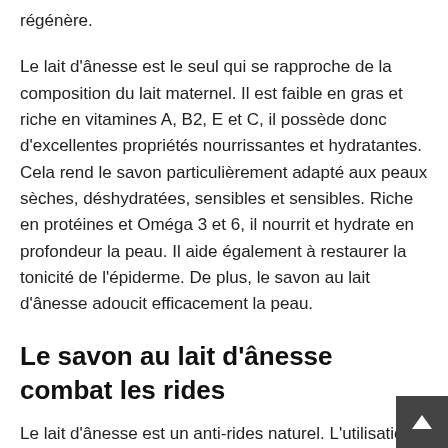régénère.
Le lait d'ânesse est le seul qui se rapproche de la composition du lait maternel. Il est faible en gras et riche en vitamines A, B2, E et C, il possède donc d'excellentes propriétés nourrissantes et hydratantes. Cela rend le savon particulièrement adapté aux peaux sèches, déshydratées, sensibles et sensibles. Riche en protéines et Oméga 3 et 6, il nourrit et hydrate en profondeur la peau. Il aide également à restaurer la tonicité de l'épiderme. De plus, le savon au lait d'ânesse adoucit efficacement la peau.
Le savon au lait d'ânesse combat les rides
Le lait d'ânesse est un anti-rides naturel. L'utilisation quotidienne du savon au lait d'ânesse bio ralentit le vieillissement cutané et l'apparition des rides. En effet, ce nettoyant apporte à votre peau les nutriments dont